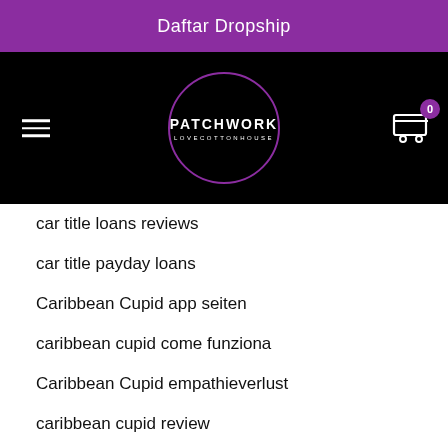Daftar Dropship
[Figure (logo): Patchwork Lovecottonhouse logo in a purple circle on black navigation bar with hamburger menu and cart icon]
car title loans reviews
car title payday loans
Caribbean Cupid app seiten
caribbean cupid come funziona
Caribbean Cupid empathieverlust
caribbean cupid review
caribbean-cupid-recenze Seznamka
caribbeancupid mobile site